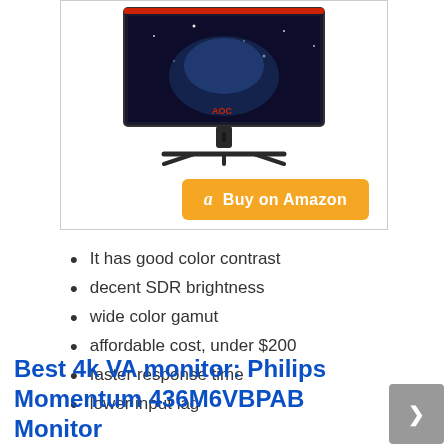[Figure (photo): AOC gaming monitor with red accents on a tripod stand, displayed inside a bordered product card box with a 'Buy on Amazon' orange button]
It has good color contrast
decent SDR brightness
wide color gamut
affordable cost, under $200
faster response time
lower input lag
Best 4k VA monitor: Philips Momentum 436M6VBPAB Monitor